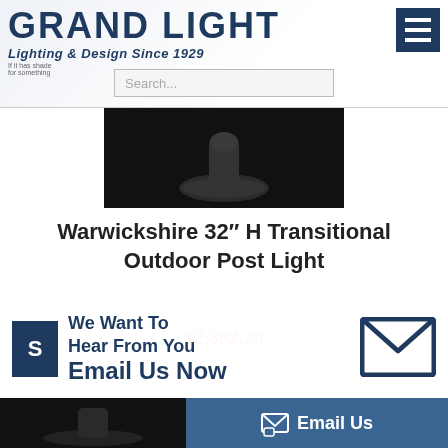[Figure (logo): Grand Light logo with text 'GRAND LIGHT' and tagline 'Lighting & Design Since 1929', hamburger menu icon on right, search bar below]
[Figure (photo): Dark background product photo showing base of an outdoor post light fixture]
Warwickshire 32” H Transitional Outdoor Post Light
$2,382.20
We Want To Hear From You Email Us Now
[Figure (illustration): Email envelope icon in dark navy blue]
[Figure (screenshot): Bottom bar with dark product image on left and teal Email Us button on right]